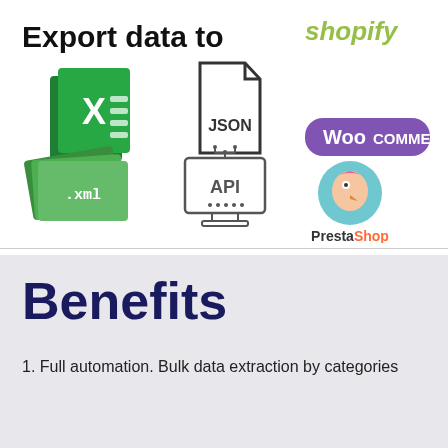Export data to
[Figure (infographic): Icons for Excel, JSON, XML, API, Shopify, WooCommerce, PrestaShop representing export targets]
Benefits
1. Full automation. Bulk data extraction by categories